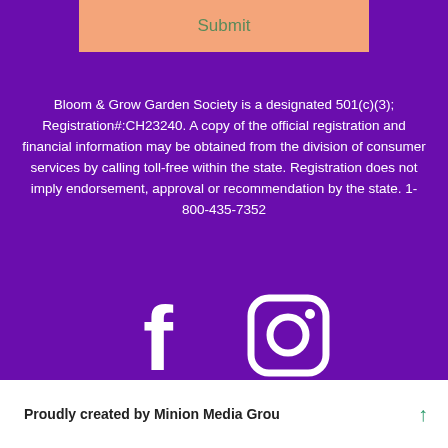Submit
Bloom & Grow Garden Society is a designated 501(c)(3); Registration#:CH23240. A copy of the official registration and financial information may be obtained from the division of consumer services by calling toll-free within the state. Registration does not imply endorsement, approval or recommendation by the state. 1-800-435-7352
[Figure (illustration): Facebook and Instagram social media icons in white on purple background]
Proudly created by Minion Media Grou